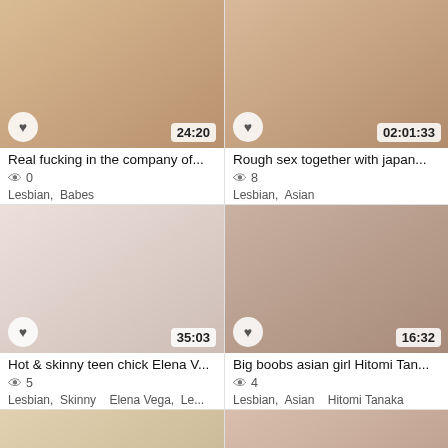[Figure (screenshot): Video thumbnail 1: Real fucking in the company of..., duration 24:20]
Real fucking in the company of...
👁 0
Lesbian,  Babes
[Figure (screenshot): Video thumbnail 2: Rough sex together with japan..., duration 02:01:33]
Rough sex together with japan...
👁 8
Lesbian,  Asian
[Figure (screenshot): Video thumbnail 3: Hot & skinny teen chick Elena V..., duration 35:03]
Hot & skinny teen chick Elena V...
👁 5
Lesbian,  Skinny     Elena Vega,  Le...
[Figure (screenshot): Video thumbnail 4: Big boobs asian girl Hitomi Tan..., duration 16:32]
Big boobs asian girl Hitomi Tan...
👁 4
Lesbian,  Asian     Hitomi Tanaka
[Figure (screenshot): Video thumbnail 5: Super hot american blonde Emi..., duration 25:35]
Super hot american blonde Emi...
[Figure (screenshot): Video thumbnail 6: Teen Izzy Lush and young Idels..., duration 48:45]
Teen Izzy Lush and young Idels...